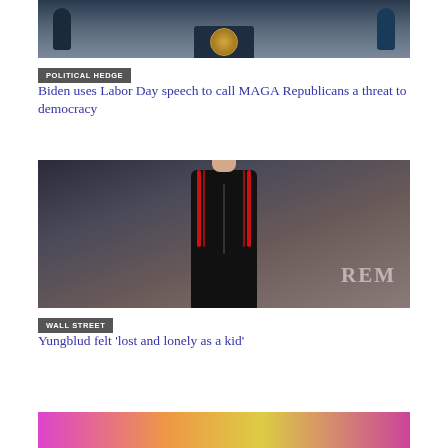[Figure (photo): Person at podium with presidential seal, two figures in suits visible]
POLITICAL HEDGE
Biden uses Labor Day speech to call MAGA Republicans a threat to democracy
[Figure (photo): Young man with red hair wearing black tracksuit with red stripes, standing in front of backdrop partially reading 'REM']
WALL STREET
Yungblud felt 'lost and lonely as a kid'
[Figure (photo): Partial view of colorful image at bottom, pink/orange tones]